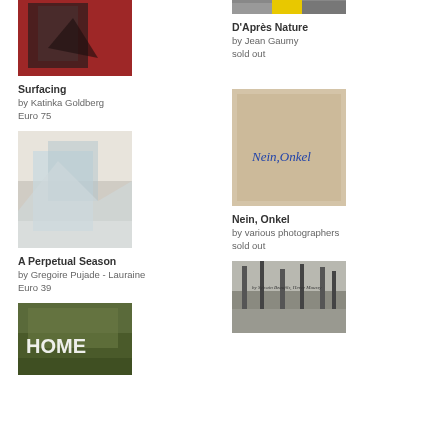[Figure (photo): Book cover: Surfacing by Katinka Goldberg - dark image with red background]
Surfacing
by Katinka Goldberg
Euro 75
[Figure (photo): Book cover: D'Après Nature by Jean Gaumy - yellow and black image]
D'Après Nature
by Jean Gaumy
sold out
[Figure (photo): Book cover: A Perpetual Season by Gregoire Pujade-Lauraine - pale blue abstract]
A Perpetual Season
by Gregoire Pujade - Lauraine
Euro 39
[Figure (photo): Book cover: Nein, Onkel by various photographers - beige/tan cover with cursive text]
Nein, Onkel
by various photographers
sold out
[Figure (photo): Book cover: HOME - green cover with HOME text]
[Figure (photo): Book cover: black and white nature/landscape photo with text]